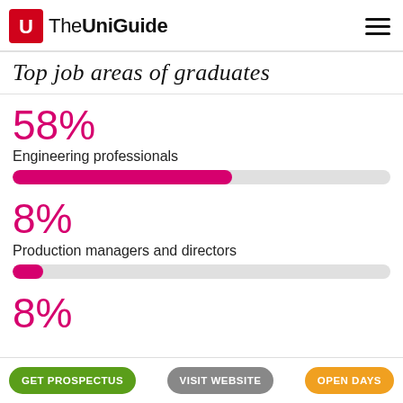The UniGuide
Top job areas of graduates
[Figure (bar-chart): Top job areas of graduates]
GET PROSPECTUS   VISIT WEBSITE   OPEN DAYS